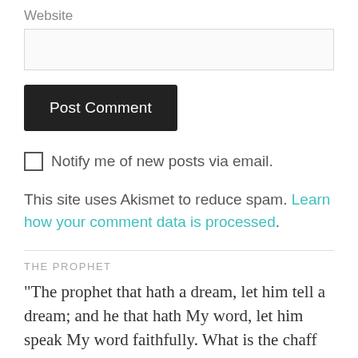Website
[Figure (other): Website input text field (empty, light gray border)]
[Figure (other): Post Comment button (black background, white text)]
Notify me of new posts via email.
This site uses Akismet to reduce spam. Learn how your comment data is processed.
THE PROPHET
"The prophet that hath a dream, let him tell a dream; and he that hath My word, let him speak My word faithfully. What is the chaff to the